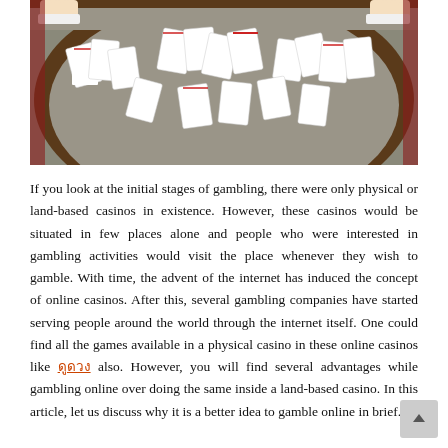[Figure (photo): A casino card table covered in grey felt with playing cards spread across it. Two dealers' hands are visible at top, one on each side. The table has a dark wooden oval rim.]
If you look at the initial stages of gambling, there were only physical or land-based casinos in existence. However, these casinos would be situated in few places alone and people who were interested in gambling activities would visit the place whenever they wish to gamble. With time, the advent of the internet has induced the concept of online casinos. After this, several gambling companies have started serving people around the world through the internet itself. One could find all the games available in a physical casino in these online casinos like [link] also. However, you will find several advantages while gambling online over doing the same inside a land-based casino. In this article, let us discuss why it is a better idea to gamble online in brief.